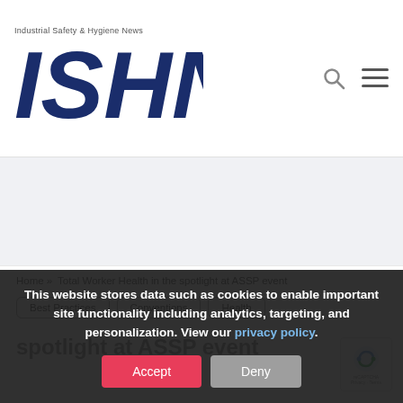[Figure (logo): ISHN - Industrial Safety & Hygiene News logo with tagline and search/menu icons]
[Figure (other): Gray advertisement banner area]
Home » Total Worker Health in the spotlight at ASSP event
Best Practices
Conventions
Health
This website stores data such as cookies to enable important site functionality including analytics, targeting, and personalization. View our privacy policy.
spotlight at ASSP event